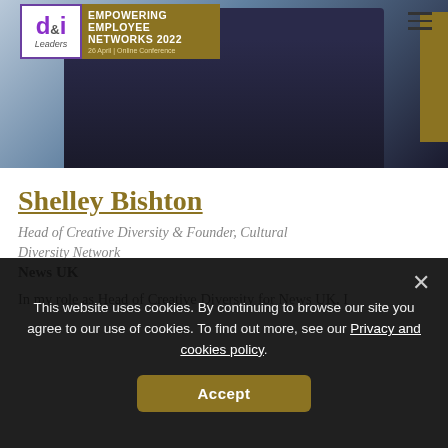[Figure (photo): Profile photo of Shelley Bishton, wearing dark blazer with yellow tie, arms crossed, overlaid with d&i Leaders logo for Empowering Employee Networks 2022 conference]
Shelley Bishton
Head of Creative Diversity & Founder, Cultural Diversity Network
News UK
In my role as Head of Creative Diversity for News UK, I
This website uses cookies. By continuing to browse our site you agree to our use of cookies. To find out more, see our Privacy and cookies policy. Accept